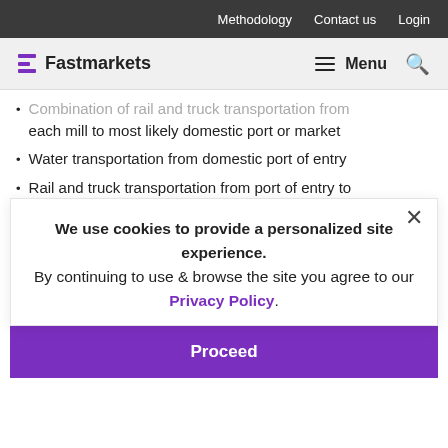Methodology   Contact us   Login
Fastmarkets   Menu
Combination of rail and truck transportation from each mill to most likely domestic port or market
Water transportation from domestic port of entry
Rail and truck transportation from port of entry to market
Loading/unloading charges
Canal passage charges
The methodology uses Fastmarkets RISI benchmark data depending on the mill's location and the import/export market...
Some mills have their own ports for exporting which significantly improves cost competitiveness. Global...
We use cookies to provide a personalized site experience. By continuing to use & browse the site you agree to our Privacy Policy.
Proceed